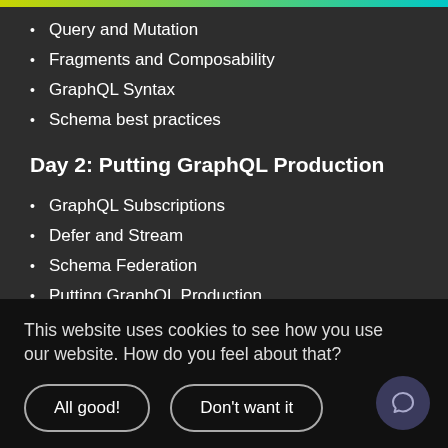Query and Mutation
Fragments and Composability
GraphQL Syntax
Schema best practices
Day 2: Putting GraphQL Production
GraphQL Subscriptions
Defer and Stream
Schema Federation
Putting GraphQL Production
Persisted Queries
Security Concepts
This website uses cookies to see how you use our website. How do you feel about that?